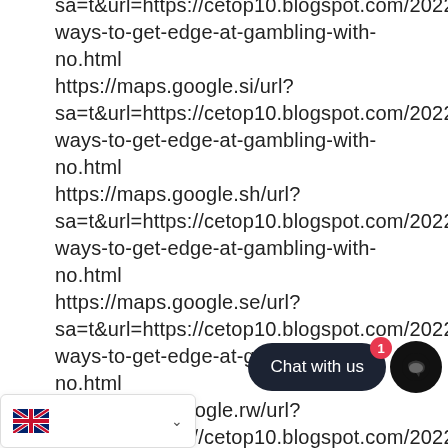sa=t&url=https://cetop10.blogspot.com/2022/06/3-ways-to-get-edge-at-gambling-with-no.html https://maps.google.si/url?sa=t&url=https://cetop10.blogspot.com/2022/06/3-ways-to-get-edge-at-gambling-with-no.html https://maps.google.sh/url?sa=t&url=https://cetop10.blogspot.com/2022/06/3-ways-to-get-edge-at-gambling-with-no.html https://maps.google.se/url?sa=t&url=https://cetop10.blogspot.com/2022/06/3-ways-to-get-edge-at-gambling-with-no.html https://maps.google.rw/url?sa=t&url=https://cetop10.blogspot.com/2022/06/3-ways-to-get-edge-at-gambling-with-no.html https://maps.google.ru/url? s://cetop10.blogspot.co... ways-to-get-edge-at-gambling-with-no.html